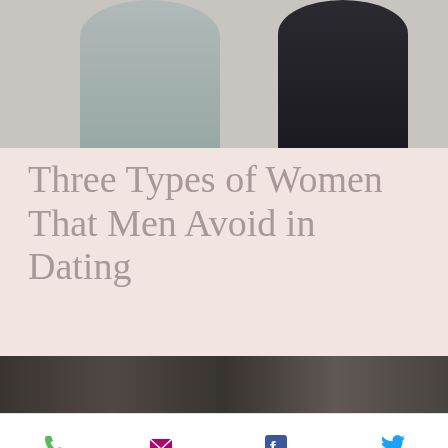[Figure (photo): Two people (a man in grey shirt and a woman in dark polka-dot dress) photographed from the torso, cropped at the top of the page]
Three Types of Women That Men Avoid in Dating
There are certain people in life that we all avoid. Think about your nosey neighbor who knows everything happening on your bloc…
[Figure (photo): Partial photo of people visible at the bottom of the card section]
[Figure (infographic): Mobile app bottom navigation bar with Phone, Email, Facebook, and Twitter share buttons]